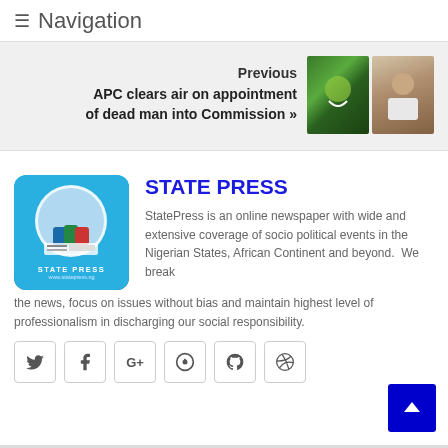≡ Navigation
Previous
APC clears air on appointment of dead man into Commission »
[Figure (photo): Two photos: green coat of arms / flag image and a man in white shirt]
STATE PRESS
StatePress is an online newspaper with wide and extensive coverage of socio political events in the Nigerian States, African Continent and beyond.  We break the news, focus on issues without bias and maintain highest level of professionalism in discharging our social responsibility.
[Figure (logo): State Press logo - blue background with circle globe and text STATE PRESS www.statepress.ng]
[Figure (infographic): Social media icons row: Twitter, Facebook, Google+, Pinterest, GitHub, Dribbble]